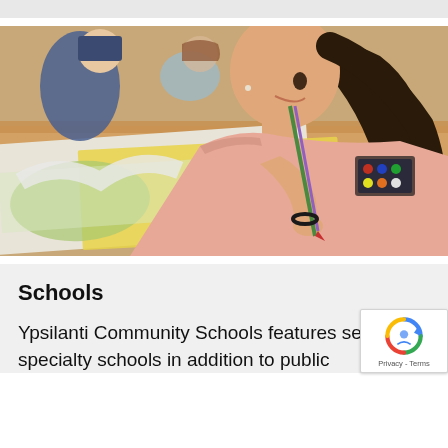[Figure (photo): Students in an art classroom painting on large sheets of paper. A girl with long dark hair in a ponytail wearing a salmon/pink shirt is in the foreground painting with a brush. Another student is visible in the background.]
Schools
Ypsilanti Community Schools features several specialty schools in addition to public